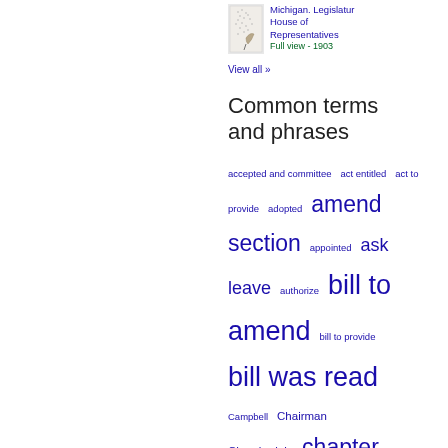[Figure (illustration): Small thumbnail image of a book/document cover with dotted pattern]
Michigan. Legislature. House of Representatives
Full view - 1903
View all »
Common terms and phrases
accepted and committee  act entitled  act to provide  adopted  amend section  appointed  ask leave  authorize  bill to amend  bill to provide  bill was read  Campbell  Chairman  Chamberlain  chapter